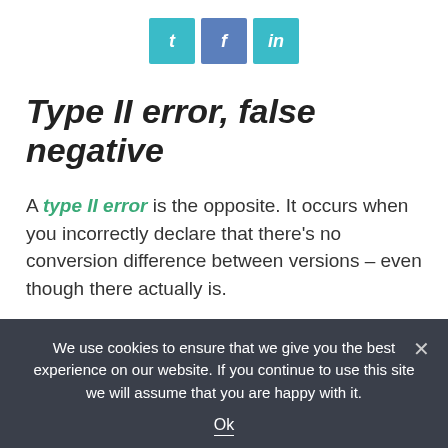[Figure (other): Three social sharing buttons: Twitter (t), Facebook (f), LinkedIn (in) in teal/blue colors]
Type II error, false negative
A type II error is the opposite. It occurs when you incorrectly declare that there’s no conversion difference between versions – even though there actually is.
This kind of error is also known as a false negative. Again, a mistake you want to avoid.
We use cookies to ensure that we give you the best experience on our website. If you continue to use this site we will assume that you are happy with it.
Ok